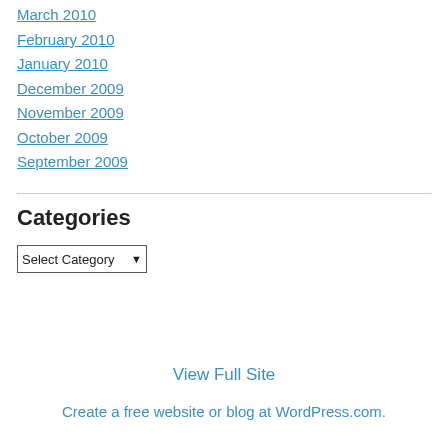March 2010
February 2010
January 2010
December 2009
November 2009
October 2009
September 2009
Categories
Select Category
View Full Site
Create a free website or blog at WordPress.com.